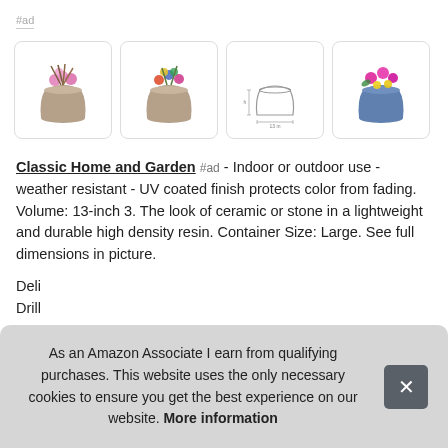#ad
[Figure (photo): Four product images of decorative garden pots. First: brown pot with pink flowers and grasses. Second: brown pot with colorful mixed flowers. Third: line drawing/diagram of pot with dimensions. Fourth: blue pot with bright pink and yellow flowers.]
Classic Home and Garden #ad - Indoor or outdoor use - weather resistant - UV coated finish protects color from fading. Volume: 13-inch 3. The look of ceramic or stone in a lightweight and durable high density resin. Container Size: Large. See full dimensions in picture.
Deli
Drill
As an Amazon Associate I earn from qualifying purchases. This website uses the only necessary cookies to ensure you get the best experience on our website. More information